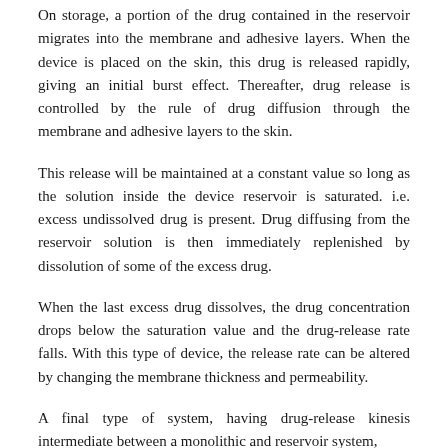On storage, a portion of the drug contained in the reservoir migrates into the membrane and adhesive layers. When the device is placed on the skin, this drug is released rapidly, giving an initial burst effect. Thereafter, drug release is controlled by the rule of drug diffusion through the membrane and adhesive layers to the skin.
This release will be maintained at a constant value so long as the solution inside the device reservoir is saturated. i.e. excess undissolved drug is present. Drug diffusing from the reservoir solution is then immediately replenished by dissolution of some of the excess drug.
When the last excess drug dissolves, the drug concentration drops below the saturation value and the drug-release rate falls. With this type of device, the release rate can be altered by changing the membrane thickness and permeability.
A final type of system, having drug-release kinesis intermediate between a monolithic and reservoir system,